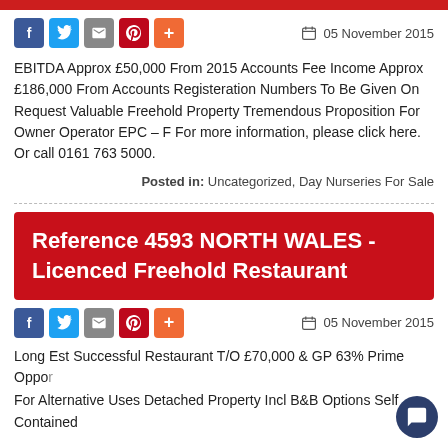EBITDA Approx £50,000 From 2015 Accounts Fee Income Approx £186,000 From Accounts Registeration Numbers To Be Given On Request Valuable Freehold Property Tremendous Proposition For Owner Operator EPC – F For more information, please click here. Or call 0161 763 5000.
Posted in: Uncategorized, Day Nurseries For Sale
Reference 4593 NORTH WALES - Licenced Freehold Restaurant
Long Est Successful Restaurant T/O £70,000 & GP 63% Prime Opportunity For Alternative Uses Detached Property Incl B&B Options Self Contained